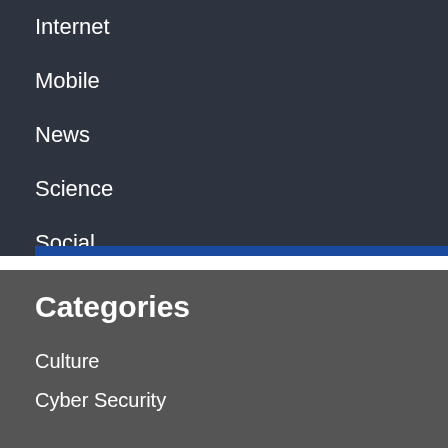Internet
Mobile
News
Science
Social
Video News
Categories
Culture
Cyber Security